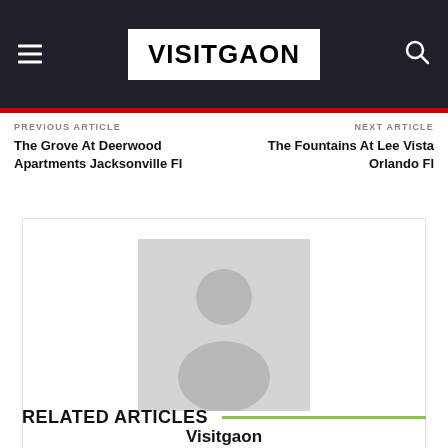VISITGAON
PREVIOUS ARTICLE
The Grove At Deerwood Apartments Jacksonville Fl
NEXT ARTICLE
The Fountains At Lee Vista Orlando Fl
[Figure (illustration): Author avatar placeholder with generic person silhouette icon in gray]
Visitgaon
http://visitgaon.com
RELATED ARTICLES